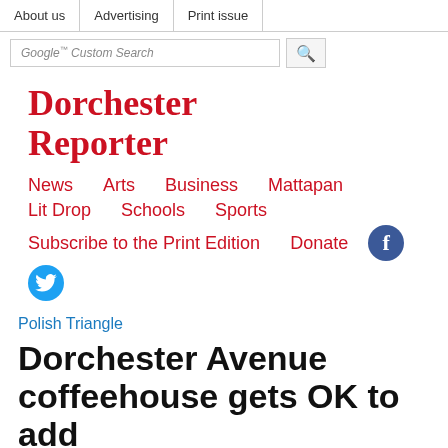About us | Advertising | Print issue
Google Custom Search
Dorchester Reporter
News   Arts   Business   Mattapan   Lit Drop   Schools   Sports
Subscribe to the Print Edition   Donate
Polish Triangle
Dorchester Avenue coffeehouse gets OK to add